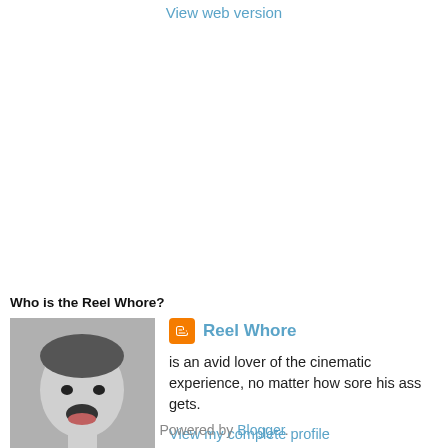View web version
Who is the Reel Whore?
[Figure (photo): Profile photo of a man with an open-mouthed expression, black and white tones]
Reel Whore
is an avid lover of the cinematic experience, no matter how sore his ass gets.
View my complete profile
Powered by Blogger.